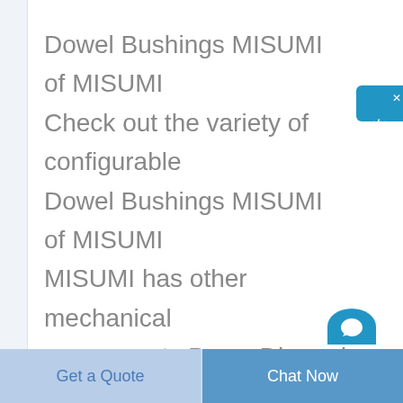Dowel Bushings MISUMI of MISUMI Check out the variety of configurable Dowel Bushings MISUMI of MISUMI MISUMI has other mechanical components Press Die and Plastic Mold products available MISUMI offers free CAD download short lead times competitive pricing and no minimum order quantity Quote and order online today
[Figure (other): Blue online chat widget button on the right side with Chinese characters reading 在线咨询 (online consultation) and a close X button at top right]
Get a Quote
Chat Now